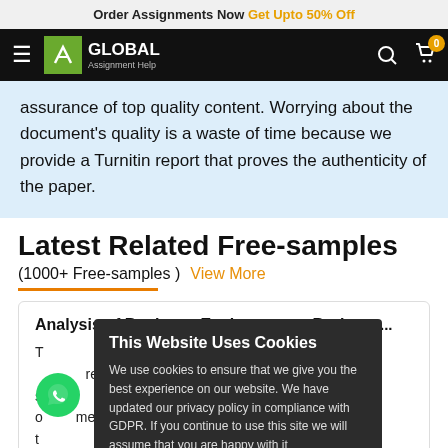Order Assignments Now Get Upto 50% Off
[Figure (logo): Global Assignment Help logo with hamburger menu, search and cart icons in black nav bar]
assurance of top quality content. Worrying about the document's quality is a waste of time because we provide a Turnitin report that proves the authenticity of the paper.
Latest Related Free-samples
(1000+ Free-samples )  View More
Analysis of Business Environment - Burberry...
We use cookies to ensure that we give you the best experience on our website. We have updated our privacy policy in compliance with GDPR. If you continue to use this site we will assume that you are happy with it
Yes, I accept Cookies   View Detail